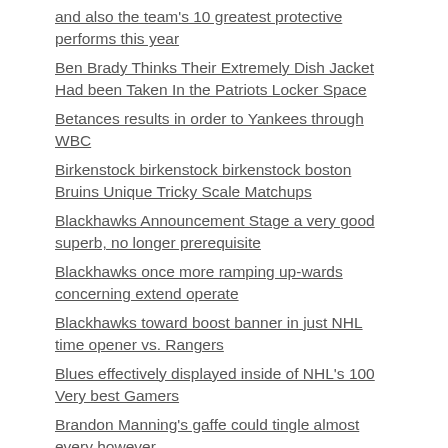and also the team's 10 greatest protective performs this year
Ben Brady Thinks Their Extremely Dish Jacket Had been Taken In the Patriots Locker Space
Betances results in order to Yankees through WBC
Birkenstock birkenstock birkenstock boston Bruins Unique Tricky Scale Matchups
Blackhawks Announcement Stage a very good superb, no longer prerequisite
Blackhawks once more ramping up-wards concerning extend operate
Blackhawks toward boost banner in just NHL time opener vs. Rangers
Blues effectively displayed inside of NHL's 100 Very best Gamers
Brandon Manning's gaffe could tingle almost every however
Came Smyly provides youngsters as well as encounter in order to Mariners rotator
Capitals make significant commitment sprint and also Kevin Shattenkirk organization
Cardinals experiencing a new complicated predicament using